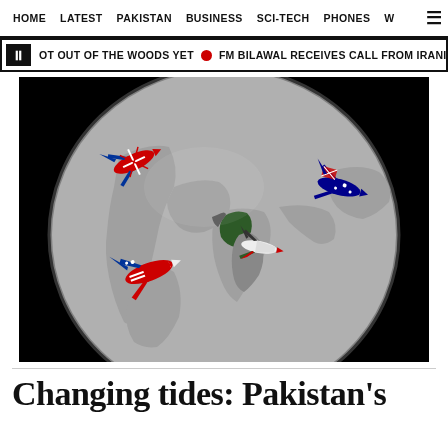HOME  LATEST  PAKISTAN  BUSINESS  SCI-TECH  PHONES  W  ☰
⏸ OT OUT OF THE WOODS YET  🔴  FM BILAWAL RECEIVES CALL FROM IRANIAN COUNT
[Figure (map): Globe map centered on South/Central Asia with flag-decorated airplane illustrations: UK flag jet (upper left), Australian flag jet (upper right), USA flag jet (lower left), and another jet near India/Pakistan region. Pakistan is highlighted in green on the map.]
Changing tides: Pakistan's